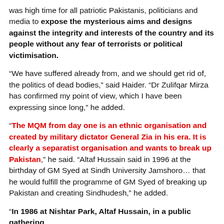was high time for all patriotic Pakistanis, politicians and media to expose the mysterious aims and designs against the integrity and interests of the country and its people without any fear of terrorists or political victimisation.
“We have suffered already from, and we should get rid of, the politics of dead bodies,” said Haider. “Dr Zulifqar Mirza has confirmed my point of view, which I have been expressing since long,” he added.
“The MQM from day one is an ethnic organisation and created by military dictator General Zia in his era. It is clearly a separatist organisation and wants to break up Pakistan,” he said. “Altaf Hussain said in 1996 at the birthday of GM Syed at Sindh University Jamshoro… that he would fulfill the programme of GM Syed of breaking up Pakistan and creating Sindhudesh,” he added.
“In 1986 at Nishtar Park, Altaf Hussain, in a public gathering